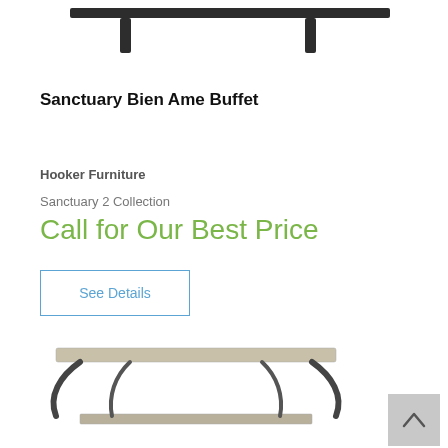[Figure (photo): Partial top view of a dark buffet/console table legs and tabletop edge visible at the very top of the page]
Sanctuary Bien Ame Buffet
Hooker Furniture
Sanctuary 2 Collection
Call for Our Best Price
See Details
[Figure (photo): Bottom portion of a light-colored console table with curved metal legs and a lower shelf, shown cropped at the bottom of the page]